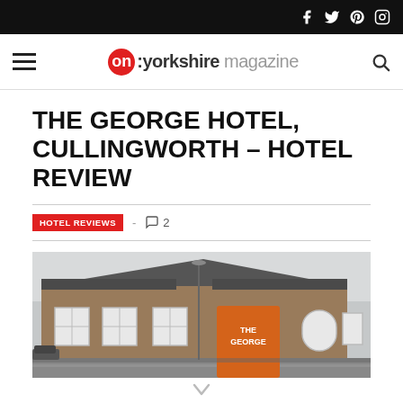on:yorkshire magazine — social icons (Facebook, Twitter, Pinterest, Instagram)
THE GEORGE HOTEL, CULLINGWORTH – HOTEL REVIEW
HOTEL REVIEWS - 2 comments
[Figure (photo): Exterior photo of The George Hotel in Cullingworth, a stone building with white windows and an orange pub sign reading 'The George']